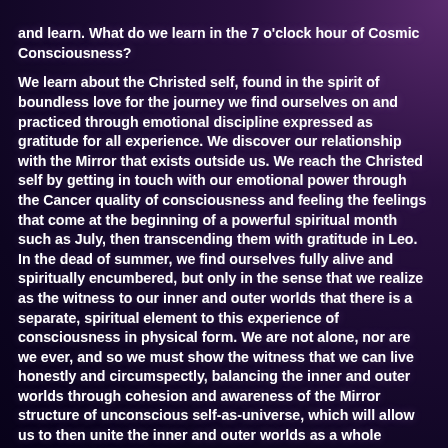and learn. What do we learn in the 7 o'clock hour of Cosmic Consciousness?

We learn about the Christed self, found in the spirit of boundless love for the journey we find ourselves on and practiced through emotional discipline expressed as gratitude for all experience. We discover our relationship with the Mirror that exists outside us. We reach the Christed self by getting in touch with our emotional power through the Cancer quality of consciousness and feeling the feelings that come at the beginning of a powerful spiritual month such as July, then transcending them with gratitude in Leo. In the dead of summer, we find ourselves fully alive and spiritually encumbered, but only in the sense that we realize as the witness to our inner and outer worlds that there is a separate, spiritual element to this experience of consciousness in physical form. We are not alone, nor are we ever, and so we must show the witness that we can live honestly and circumspectly, balancing the inner and outer worlds through cohesion and awareness of the Mirror structure of unconscious self-as-universe, which will allow us to then unite the inner and outer worlds as a whole conscious experience.